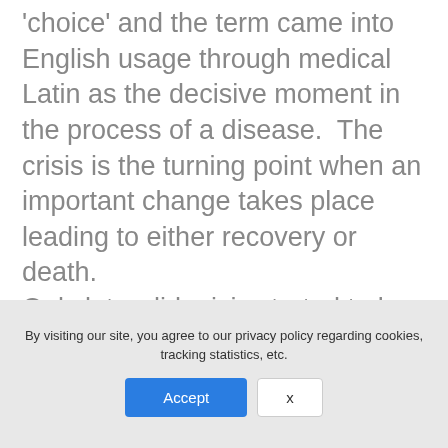'choice' and the term came into English usage through medical Latin as the decisive moment in the process of a disease. The crisis is the turning point when an important change takes place leading to either recovery or death.
Only later did crisis started to be used more generally, in literature as the decisive moment in the development of the plot (though clearly this happened after Shakespeare since he never used the word), in society when there was an unstable state of affairs when decisive
By visiting our site, you agree to our privacy policy regarding cookies, tracking statistics, etc.